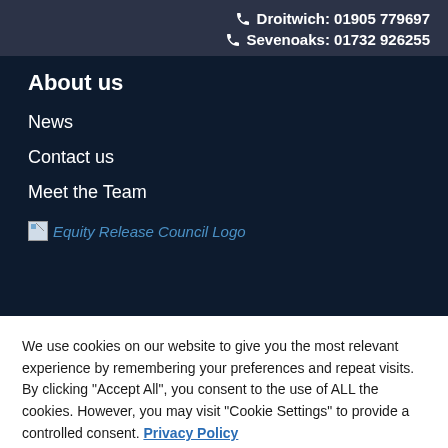Droitwich: 01905 779697
Sevenoaks: 01732 926255
About us
News
Contact us
Meet the Team
[Figure (logo): Equity Release Council Logo (broken image with alt text)]
We use cookies on our website to give you the most relevant experience by remembering your preferences and repeat visits. By clicking "Accept All", you consent to the use of ALL the cookies. However, you may visit "Cookie Settings" to provide a controlled consent. Privacy Policy
Cookie Settings | Accept All